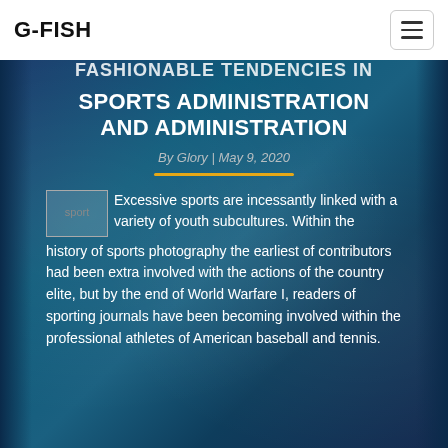G-FISH
FASHIONABLE TENDENCIES IN SPORTS ADMINISTRATION AND ADMINISTRATION
By Glory | May 9, 2020
Excessive sports are incessantly linked with a variety of youth subcultures. Within the history of sports photography the earliest of contributors had been extra involved with the actions of the country elite, but by the end of World Warfare I, readers of sporting journals have been becoming involved within the professional athletes of American baseball and tennis.